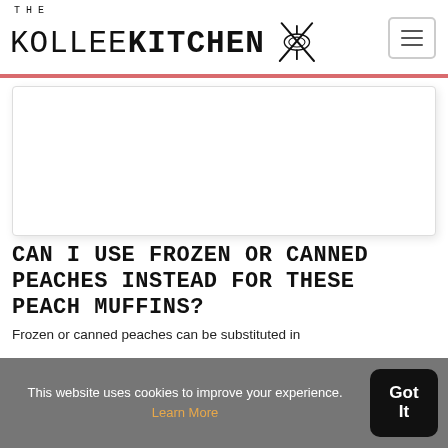THE KOLLEE KITCHEN
[Figure (photo): White rectangular image placeholder area with light border and shadow]
CAN I USE FROZEN OR CANNED PEACHES INSTEAD FOR THESE PEACH MUFFINS?
Frozen or canned peaches can be substituted in
This website uses cookies to improve your experience. Learn More